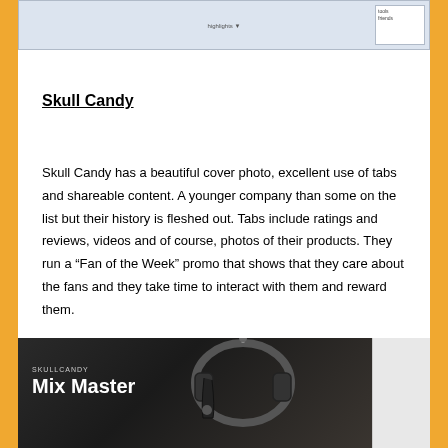[Figure (screenshot): Partial screenshot of a webpage with a light blue/grey background and a small white panel in the top right corner with tiny text labels]
Skull Candy
Skull Candy has a beautiful cover photo, excellent use of tabs and shareable content. A younger company than some on the list but their history is fleshed out. Tabs include ratings and reviews, videos and of course, photos of their products. They run a “Fan of the Week” promo that shows that they care about the fans and they take time to interact with them and reward them.
[Figure (photo): Skullcandy Mix Master headphones product photo on dark background with the text 'SKULLCANDY Mix Master' in white]